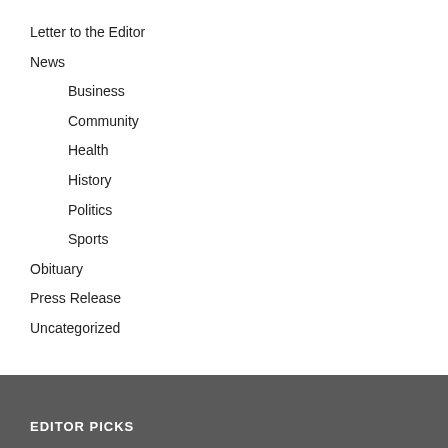Letter to the Editor
News
Business
Community
Health
History
Politics
Sports
Obituary
Press Release
Uncategorized
EDITOR PICKS